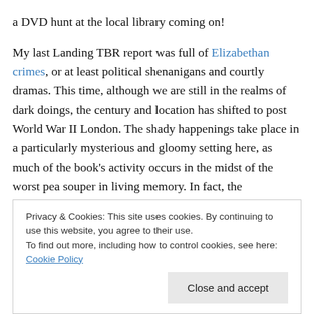a DVD hunt at the local library coming on!
My last Landing TBR report was full of Elizabethan crimes, or at least political shenanigans and courtly dramas. This time, although we are still in the realms of dark doings, the century and location has shifted to post World War II London. The shady happenings take place in a particularly mysterious and gloomy setting here, as much of the book's activity occurs in the midst of the worst pea souper in living memory. In fact, the atmosphere is quite Dickensian, there is a sense that Bill Sykes could swagger round a corner any minute. A motley crew of street musicians, threading its way around the alleyways, led by
Privacy & Cookies: This site uses cookies. By continuing to use this website, you agree to their use. To find out more, including how to control cookies, see here: Cookie Policy
Close and accept